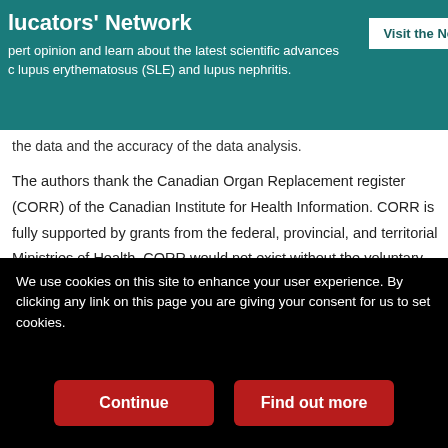lucators' Network — Visit the Ne
pert opinion and learn about the latest scientific advances c lupus erythematosus (SLE) and lupus nephritis.
the data and the accuracy of the data analysis.
The authors thank the Canadian Organ Replacement register (CORR) of the Canadian Institute for Health Information. CORR is fully supported by grants from the federal, provincial, and territorial Ministries of Health. CORR would not exist without the voluntary participation of the Canadian Society of Nephrology, the Canadian Society of Transplantation, and the Canadian Association of Nephrology Nurses and Technologists, along with their constituent members at the dialysis and transplant centers across the country. The Kidney Foundation of Canada also supports CORR by active
We use cookies on this site to enhance your user experience. By clicking any link on this page you are giving your consent for us to set cookies.
Continue | Find out more